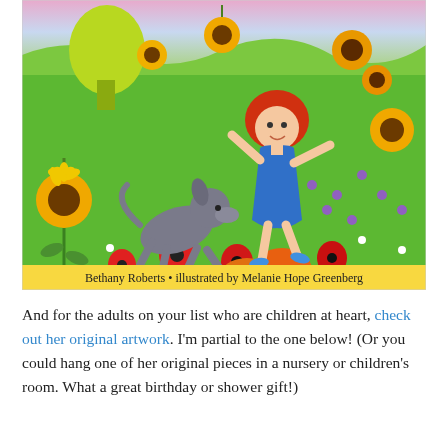[Figure (illustration): Colorful children's book cover illustration showing a red-haired girl in a blue dress dancing in a flower field with a gray dog jumping beside her. Sunflowers, red poppies, and other flowers fill the scene. A yellow/green banner at the bottom reads: 'Bethany Roberts • illustrated by Melanie Hope Greenberg'.]
And for the adults on your list who are children at heart, check out her original artwork. I'm partial to the one below! (Or you could hang one of her original pieces in a nursery or children's room. What a great birthday or shower gift!)